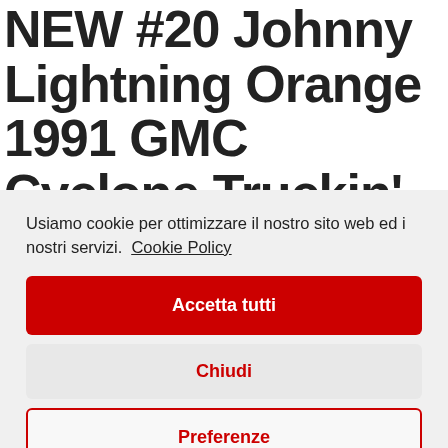NEW #20 Johnny Lightning Orange 1991 GMC Cyclone Truckin'
Usiamo cookie per ottimizzare il nostro sito web ed i nostri servizi. Cookie Policy
Accetta tutti
Chiudi
Preferenze